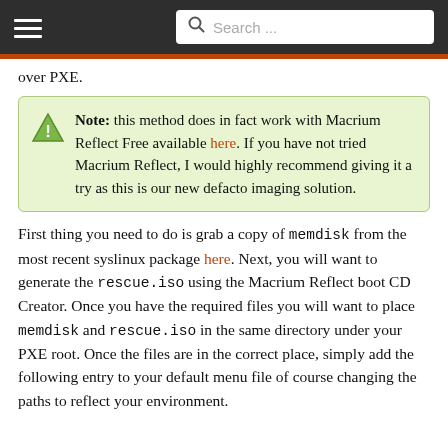Search ...
over PXE.
Note: this method does in fact work with Macrium Reflect Free available here. If you have not tried Macrium Reflect, I would highly recommend giving it a try as this is our new defacto imaging solution.
First thing you need to do is grab a copy of memdisk from the most recent syslinux package here. Next, you will want to generate the rescue.iso using the Macrium Reflect boot CD Creator. Once you have the required files you will want to place memdisk and rescue.iso in the same directory under your PXE root. Once the files are in the correct place, simply add the following entry to your default menu file of course changing the paths to reflect your environment.